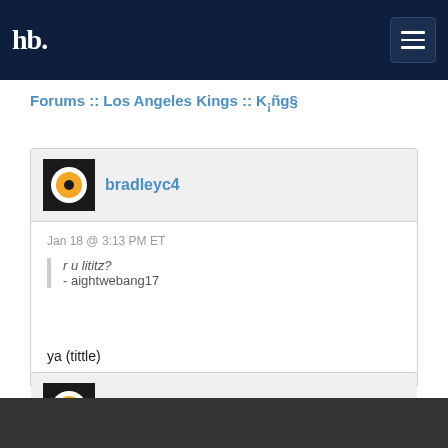hb [hamburger menu]
Forums :: Los Angeles Kings :: K¡ñg§
bradleyc4
Jan 18 @ 3:13 PM ET
r u lititz?
- aightwebang17
ya (tittle)
bradleyc4